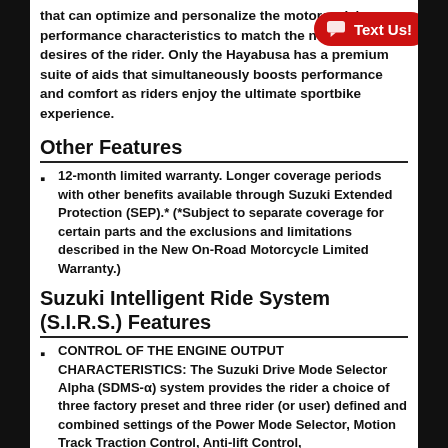that can optimize and personalize the motorcycle's performance characteristics to match the needs and desires of the rider. Only the Hayabusa has a premium suite of aids that simultaneously boosts performance and comfort as riders enjoy the ultimate sportbike experience.
Other Features
12-month limited warranty. Longer coverage periods with other benefits available through Suzuki Extended Protection (SEP).* (*Subject to separate coverage for certain parts and the exclusions and limitations described in the New On-Road Motorcycle Limited Warranty.)
Suzuki Intelligent Ride System (S.I.R.S.) Features
CONTROL OF THE ENGINE OUTPUT CHARACTERISTICS: The Suzuki Drive Mode Selector Alpha (SDMS-α) system provides the rider a choice of three factory preset and three rider (or user) defined and combined settings of the Power Mode Selector, Motion Track Traction Control, Anti-lift Control,